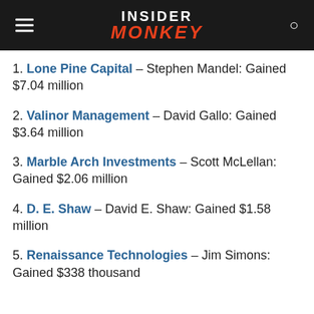INSIDER MONKEY
1. Lone Pine Capital – Stephen Mandel: Gained $7.04 million
2. Valinor Management – David Gallo: Gained $3.64 million
3. Marble Arch Investments – Scott McLellan: Gained $2.06 million
4. D. E. Shaw – David E. Shaw: Gained $1.58 million
5. Renaissance Technologies – Jim Simons: Gained $338 thousand